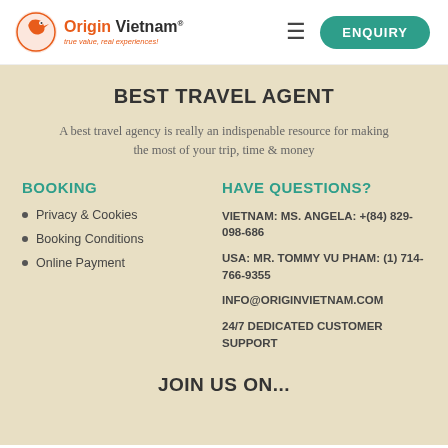Origin Vietnam — true value, real experiences! | ENQUIRY
BEST TRAVEL AGENT
A best travel agency is really an indispenable resource for making the most of your trip, time & money
BOOKING
Privacy & Cookies
Booking Conditions
Online Payment
HAVE QUESTIONS?
VIETNAM: MS. ANGELA: +(84) 829-098-686
USA: MR. TOMMY VU PHAM: (1) 714-766-9355
INFO@ORIGINVIETNAM.COM
24/7 DEDICATED CUSTOMER SUPPORT
JOIN US ON...